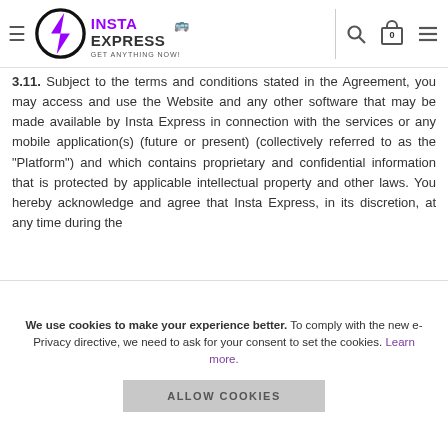Insta Express — Get Anything Now!
3.11. Subject to the terms and conditions stated in the Agreement, you may access and use the Website and any other software that may be made available by Insta Express in connection with the services or any mobile application(s) (future or present) (collectively referred to as the "Platform") and which contains proprietary and confidential information that is protected by applicable intellectual property and other laws. You hereby acknowledge and agree that Insta Express, in its discretion, at any time during the
We use cookies to make your experience better. To comply with the new e-Privacy directive, we need to ask for your consent to set the cookies. Learn more.
ALLOW COOKIES